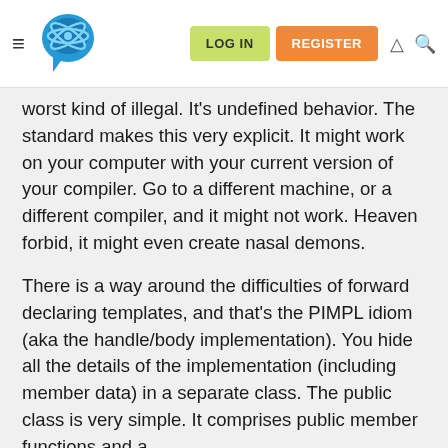LOG IN | REGISTER
worst kind of illegal. It's undefined behavior. The standard makes this very explicit. It might work on your computer with your current version of your compiler. Go to a different machine, or a different compiler, and it might not work. Heaven forbid, it might even create nasal demons.
There is a way around the difficulties of forward declaring templates, and that's the PIMPL idiom (aka the handle/body implementation). You hide all the details of the implementation (including member data) in a separate class. The public class is very simple. It comprises public member functions and a